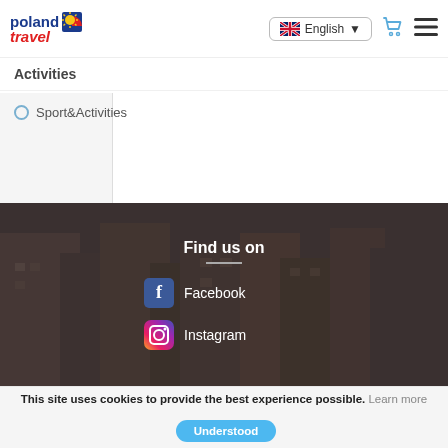[Figure (logo): Poland Travel logo with blue 'poland' text, red italic 'travel' text, and a sun/flag icon]
English ▼
Activities
Sport&Activities
Find us on
Facebook
Instagram
This site uses cookies to provide the best experience possible. Learn more
Understood